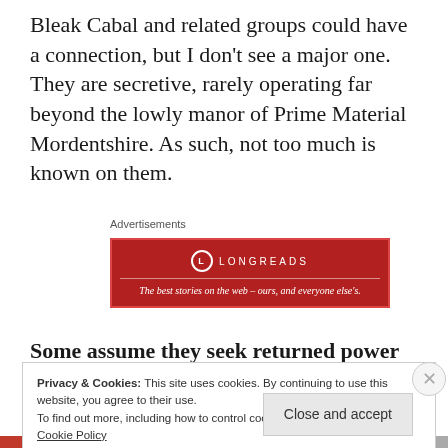Bleak Cabal and related groups could have a connection, but I don't see a major one. They are secretive, rarely operating far beyond the lowly manor of Prime Material Mordentshire. As such, not too much is known on them.
[Figure (other): Longreads advertisement banner: red background with circular logo, text 'LONGREADS' and tagline 'The best stories on the web – ours, and everyone else's.']
Advertisements
Some assume they seek returned power to
Privacy & Cookies: This site uses cookies. By continuing to use this website, you agree to their use.
To find out more, including how to control cookies, see here: Cookie Policy